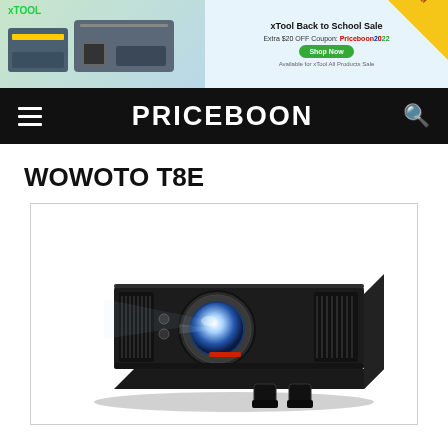[Figure (screenshot): xTool Back to School Sale advertisement banner with laser machine image, coupon code Priceboon2022, green Shop Now button, and Special Offer corner badge]
PRICEBOON
WOWOTO T8E
[Figure (photo): WOWOTO T8E DLP projector, black portable projector with lens glowing blue/white, shown in three-quarter front view on white background]